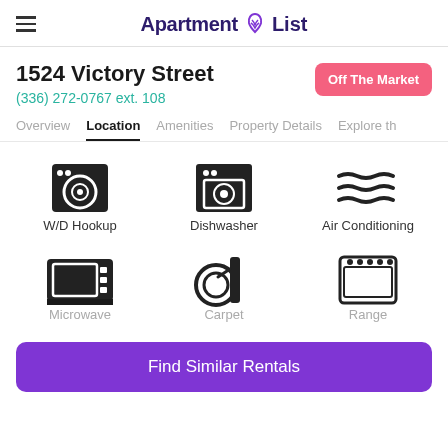Apartment List
1524 Victory Street
(336) 272-0767 ext. 108
Off The Market
Overview  Location  Amenities  Property Details  Explore th
[Figure (infographic): Six amenity icons in a 2-row, 3-column grid: W/D Hookup (washer icon), Dishwasher (dishwasher icon), Air Conditioning (wavy lines icon), Microwave (microwave icon), Carpet (carpet roll icon), Range (oven/range icon)]
Find Similar Rentals